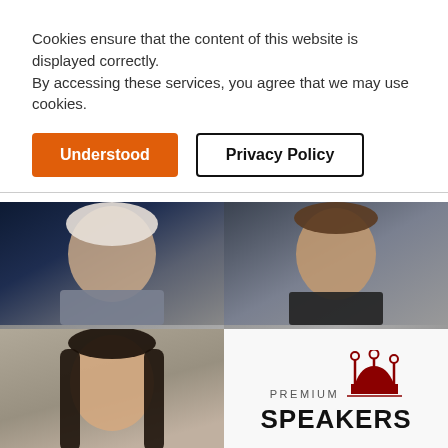Cookies ensure that the content of this website is displayed correctly.
By accessing these services, you agree that we may use cookies.
Understood
Privacy Policy
[Figure (photo): Grid of speaker photos: top-left shows an older man with white/grey hair in a grey blazer, top-right shows a younger man in a dark suit, bottom-left shows an Asian woman with long dark hair. Bottom-right shows the Premium Speakers logo with a red crown.]